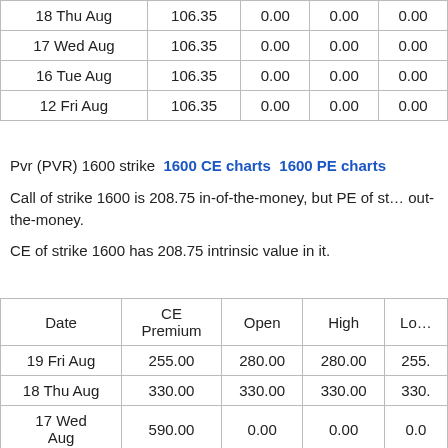| Date | CE Premium | Open | High | Low |
| --- | --- | --- | --- | --- |
| 18 Thu Aug | 106.35 | 0.00 | 0.00 | 0.00 |
| 17 Wed Aug | 106.35 | 0.00 | 0.00 | 0.00 |
| 16 Tue Aug | 106.35 | 0.00 | 0.00 | 0.00 |
| 12 Fri Aug | 106.35 | 0.00 | 0.00 | 0.00 |
Pvr (PVR) 1600 strike  1600 CE charts  1600 PE charts
Call of strike 1600 is 208.75 in-of-the-money, but PE of strike is out-the-money.
CE of strike 1600 has 208.75 intrinsic value in it.
| Date | CE Premium | Open | High | Low |
| --- | --- | --- | --- | --- |
| 19 Fri Aug | 255.00 | 280.00 | 280.00 | 255. |
| 18 Thu Aug | 330.00 | 330.00 | 330.00 | 330. |
| 17 Wed Aug | 590.00 | 0.00 | 0.00 | 0.0 |
| 16 Tue Aug | 590.00 | 0.00 | 0.00 | 0.0 |